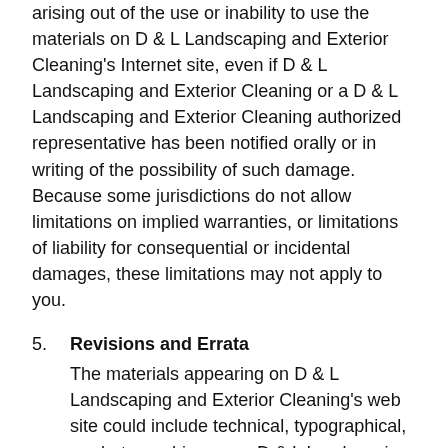arising out of the use or inability to use the materials on D & L Landscaping and Exterior Cleaning's Internet site, even if D & L Landscaping and Exterior Cleaning or a D & L Landscaping and Exterior Cleaning authorized representative has been notified orally or in writing of the possibility of such damage. Because some jurisdictions do not allow limitations on implied warranties, or limitations of liability for consequential or incidental damages, these limitations may not apply to you.
5. Revisions and Errata
The materials appearing on D & L Landscaping and Exterior Cleaning's web site could include technical, typographical, or photographic errors. D & L Landscaping and Exterior Cleaning does not warrant that any of the materials on its web site are accurate, complete, or current. D & L Landscaping and Exterior Cleaning may make changes to the materials contained on its web site